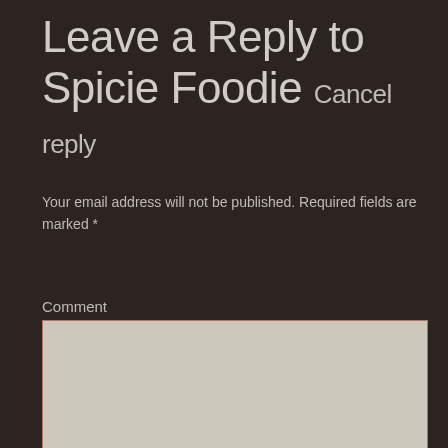Leave a Reply to Spicie Foodie Cancel reply
Your email address will not be published. Required fields are marked *
Comment
Name *